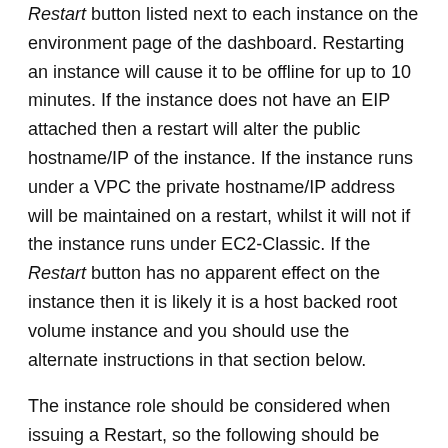Restart button listed next to each instance on the environment page of the dashboard. Restarting an instance will cause it to be offline for up to 10 minutes. If the instance does not have an EIP attached then a restart will alter the public hostname/IP of the instance. If the instance runs under a VPC the private hostname/IP address will be maintained on a restart, whilst it will not if the instance runs under EC2-Classic. If the Restart button has no apparent effect on the instance then it is likely it is a host backed root volume instance and you should use the alternate instructions in that section below.
The instance role should be considered when issuing a Restart, so the following should be taken into account:
For a single-instance (or solo) environment: If